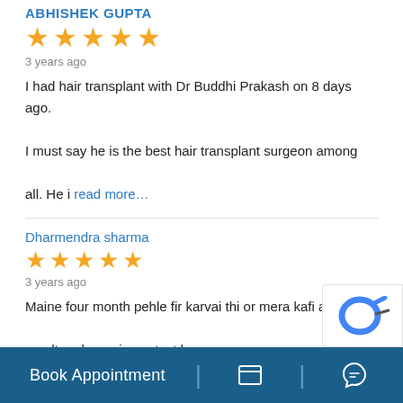ABHISHEK GUPTA
[Figure (other): 5 orange stars rating]
3 years ago
I had hair transplant with Dr Buddhi Prakash on 8 days ago. I must say he is the best hair transplant surgeon among all. He i read more…
Dharmendra sharma
[Figure (other): 5 orange stars rating]
3 years ago
Maine four month pehle fir karvai thi or mera kafi acha resulte raha main santust hu
rohit singh
[Figure (other): 5 orange stars rating (partially visible)]
Book Appointment